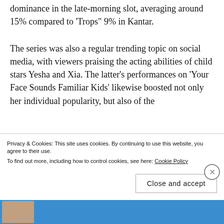dominance in the late-morning slot, averaging around 15% compared to ‘Trops” 9% in Kantar.
The series was also a regular trending topic on social media, with viewers praising the acting abilities of child stars Yesha and Xia. The latter’s performances on ‘Your Face Sounds Familiar Kids’ likewise boosted not only her individual popularity, but also of the
Privacy & Cookies: This site uses cookies. By continuing to use this website, you agree to their use.
To find out more, including how to control cookies, see here: Cookie Policy
Close and accept